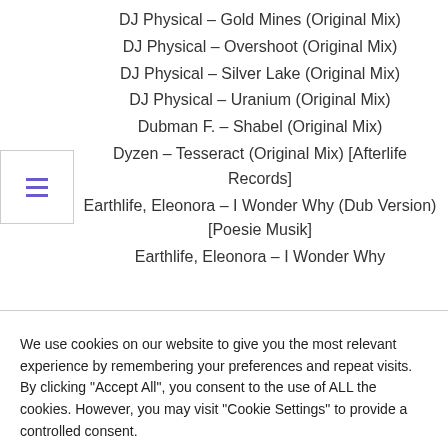DJ Physical – Gold Mines (Original Mix)
DJ Physical – Overshoot (Original Mix)
DJ Physical – Silver Lake (Original Mix)
DJ Physical – Uranium (Original Mix)
Dubman F. – Shabel (Original Mix)
Dyzen – Tesseract (Original Mix) [Afterlife Records]
Earthlife, Eleonora – I Wonder Why (Dub Version) [Poesie Musik]
Earthlife, Eleonora – I Wonder Why
We use cookies on our website to give you the most relevant experience by remembering your preferences and repeat visits. By clicking "Accept All", you consent to the use of ALL the cookies. However, you may visit "Cookie Settings" to provide a controlled consent.
Cookie Settings | Accept All